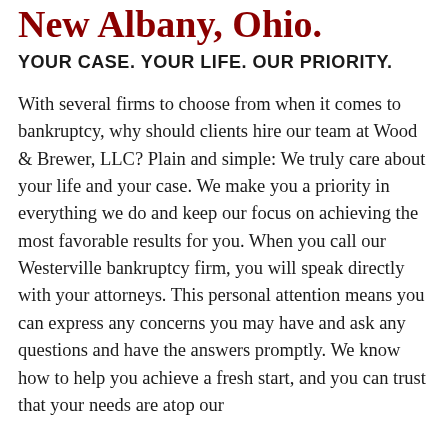New Albany, Ohio.
YOUR CASE. YOUR LIFE. OUR PRIORITY.
With several firms to choose from when it comes to bankruptcy, why should clients hire our team at Wood & Brewer, LLC? Plain and simple: We truly care about your life and your case. We make you a priority in everything we do and keep our focus on achieving the most favorable results for you. When you call our Westerville bankruptcy firm, you will speak directly with your attorneys. This personal attention means you can express any concerns you may have and ask any questions and have the answers promptly. We know how to help you achieve a fresh start, and you can trust that your needs are atop our